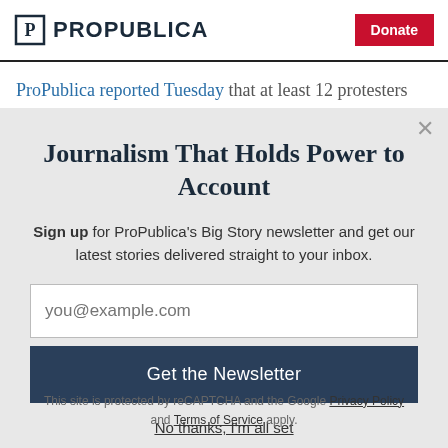ProPublica — Donate
ProPublica reported Tuesday that at least 12 protesters
Journalism That Holds Power to Account
Sign up for ProPublica's Big Story newsletter and get our latest stories delivered straight to your inbox.
you@example.com
Get the Newsletter
No thanks, I'm all set
This site is protected by reCAPTCHA and the Google Privacy Policy and Terms of Service apply.